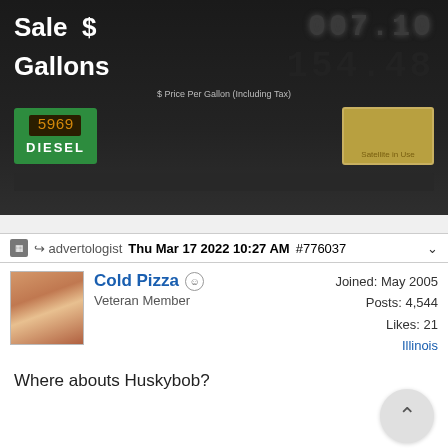[Figure (photo): Photo of a diesel fuel pump display showing Sale $ and Gallons readings. A green DIESEL button/indicator is visible with a price display showing 5969. Large digital display shows 154.48 gallons. Text reads '$ Price Per Gallon (Including Tax)'. A satellite display box is visible on the right.]
advertologist  Thu Mar 17 2022 10:27 AM  #776037
Cold Pizza
Veteran Member
Joined: May 2005
Posts: 4,544
Likes: 21
Illinois
Where abouts Huskybob?
Hop To    Page 1 of 8